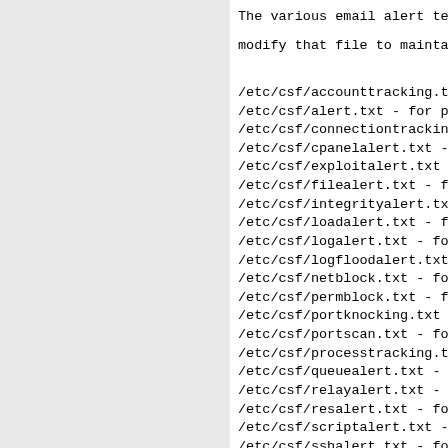The various email alert templates follow, modify that file to maintain the correct f
/etc/csf/accounttracking.txt - for account
/etc/csf/alert.txt - for port blocking ema
/etc/csf/connectiontracking.txt - for conne
/etc/csf/cpanelalert.txt - for WHM/cPanel a
/etc/csf/exploitalert.txt - for system exp
/etc/csf/filealert.txt - for suspicious fi
/etc/csf/integrityalert.txt - for system i
/etc/csf/loadalert.txt - for high load ave
/etc/csf/logalert.txt - for log scanner re
/etc/csf/logfloodalert.txt - for log file
/etc/csf/netblock.txt - for netblock alert
/etc/csf/permblock.txt - for temporary to p
/etc/csf/portknocking.txt - for Port Knock
/etc/csf/portscan.txt - for port scan trac
/etc/csf/processtracking.txt - for process
/etc/csf/queuealert.txt - for email queue a
/etc/csf/relayalert.txt - for email relay a
/etc/csf/resalert.txt - for process resour
/etc/csf/scriptalert.txt - for script aler
/etc/csf/sshalert.txt - for SSH login emai
/etc/csf/sualert.txt - for SU alert emails
/etc/csf/tracking.txt - for POP3/IMAP bloc
/etc/csf/uialert.txt - for UI alert emails
/etc/csf/usertracking.txt - for user proce
/etc/csf/watchalert.txt - for watched file